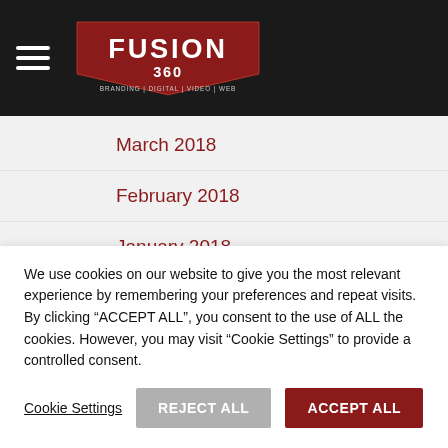[Figure (logo): Fusion 360 logo — white text on dark red shield badge, BRANDING | DIGITAL | VIDEO | WEB tagline]
May 2018
March 2018
February 2018
January 2018
November 2017
October 2017
September 2017
We use cookies on our website to give you the most relevant experience by remembering your preferences and repeat visits. By clicking “ACCEPT ALL”, you consent to the use of ALL the cookies. However, you may visit "Cookie Settings" to provide a controlled consent.
Cookie Settings  REJECT ALL  ACCEPT ALL